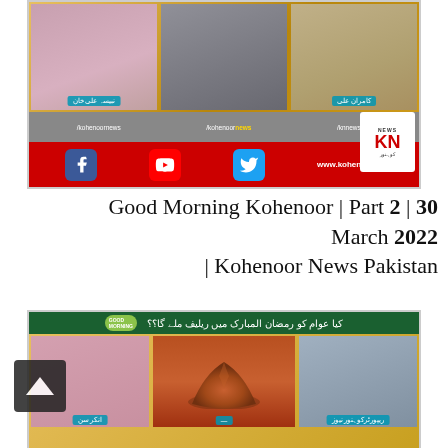[Figure (screenshot): Screenshot of Kohenoor News TV broadcast showing three guests with name tags in Arabic/Urdu script (نبیسہ علی خان and کامران علی), below are social media handles (/kohenoornews, /kohenoor news, /knnewspk1), social media icons (Facebook, YouTube, Twitter), KN News logo, and website www.kohenoor.tv]
Good Morning Kohenoor | Part 2 | 30 March 2022 | Kohenoor News Pakistan
[Figure (screenshot): Screenshot of Kohenoor News Good Morning show with Urdu headline text, three panels showing a female anchor, a mound of spice (red/brown powder), and a male reporter, with name tags at bottom reading انکر سن and ریپورٹرکوہنور نیوز]